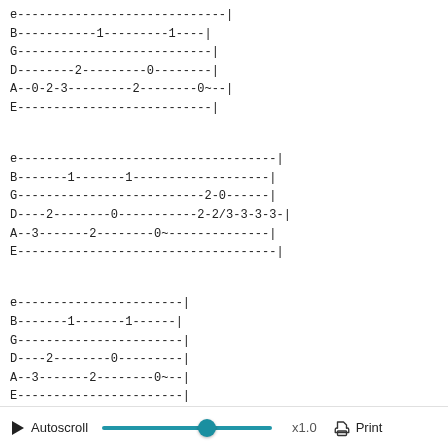e-------------------------|
B-----------1---------1----|
G---------------------------|
D--------2---------0-------|
A--0-2-3---------2--------0~--|
E---------------------------|
e-----------------------------------|
B-------1-------1------------------|
G--------------------------2-0-----|
D----2--------0-----------2-2/3-3-3-3-|
A--3-------2--------0~--------------|
E-----------------------------------|
e-----------------------|
B-------1-------1------|
G-----------------------|
D----2--------0-------|
A--3-------2--------0~--|
E-----------------------|
e-----------------------|
B--1-------0~-----------|
G------0~---------------|
D-----------------------|
▶ Autoscroll  x1.0  Print